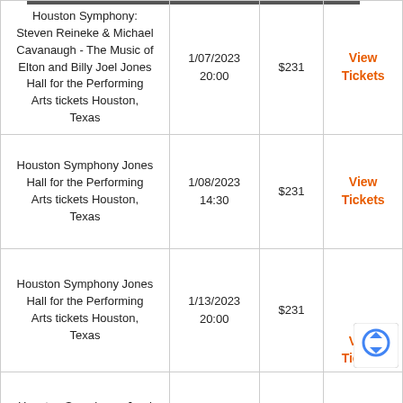| Event | Date/Time | Price | Action |
| --- | --- | --- | --- |
| Houston Symphony: Steven Reineke & Michael Cavanaugh - The Music of Elton and Billy Joel Jones Hall for the Performing Arts tickets Houston, Texas | 1/07/2023 20:00 | $231 | View Tickets |
| Houston Symphony Jones Hall for the Performing Arts tickets Houston, Texas | 1/08/2023 14:30 | $231 | View Tickets |
| Houston Symphony Jones Hall for the Performing Arts tickets Houston, Texas | 1/13/2023 20:00 | $231 | View Tickets |
| Houston Symphony: Juraj Valcuha - Bartok's |  |  |  |